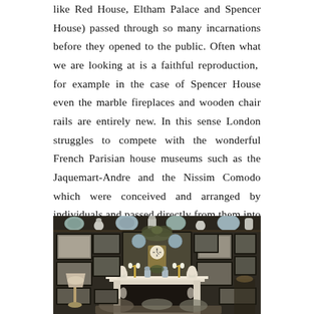like Red House, Eltham Palace and Spencer House) passed through so many incarnations before they opened to the public. Often what we are looking at is a faithful reproduction,  for example in the case of Spencer House even the marble fireplaces and wooden chair rails are entirely new. In this sense London struggles to compete with the wonderful French Parisian house museums such as the Jaquemart-Andre and the Nissim Comodo which were conceived and arranged by individuals and passed directly from them into their status as museums. The equivalent in London would be the Soane which is surely one of London's gems.
[Figure (photo): Interior photograph of an ornate room with a white marble fireplace surrounded by framed artworks on dark walls, porcelain vases on a high shelf, a decorative clock, candelabras, white busts, and a pleated table lamp. The room is richly decorated in a Victorian/Edwardian house museum style.]